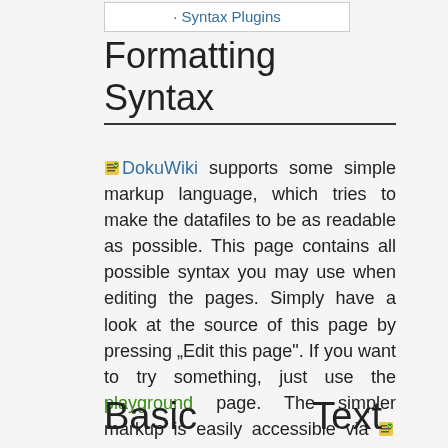· Syntax Plugins
Formatting Syntax
🖊 DokuWiki supports some simple markup language, which tries to make the datafiles to be as readable as possible. This page contains all possible syntax you may use when editing the pages. Simply have a look at the source of this page by pressing „Edit this page". If you want to try something, just use the playground page. The simpler markup is easily accessible via 🖊 quickbuttons, too.
Basic Text Formatting